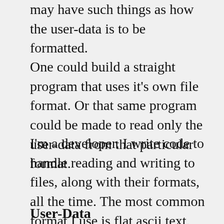may have such things as how the user-data is to be formatted.
One could build a straight program that uses it's own file format. Or that same program could be made to read only the user-data from that particular format.
I'm a developer. I write code to handle reading and writing to files, along with their formats, all the time. The most common format I use is flat ascii text. To the non-programmer, an example:
User-Data
Name: John D...